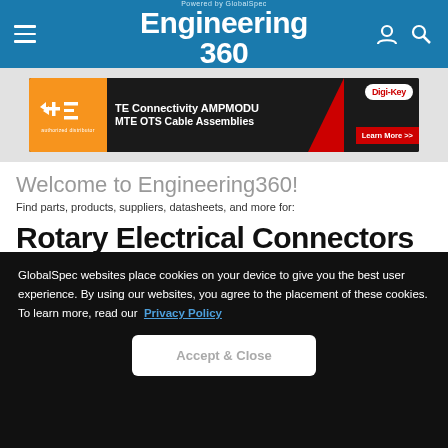Powered by GlobalSpec Engineering 360
[Figure (screenshot): TE Connectivity AMPMODU MTE OTS Cable Assemblies advertisement banner with Digi-Key branding and Learn More button]
Welcome to Engineering360!
Find parts, products, suppliers, datasheets, and more for:
Rotary Electrical Connectors
Products & Services
See also:
GlobalSpec websites place cookies on your device to give you the best user experience. By using our websites, you agree to the placement of these cookies. To learn more, read our  Privacy Policy
Accept & Close